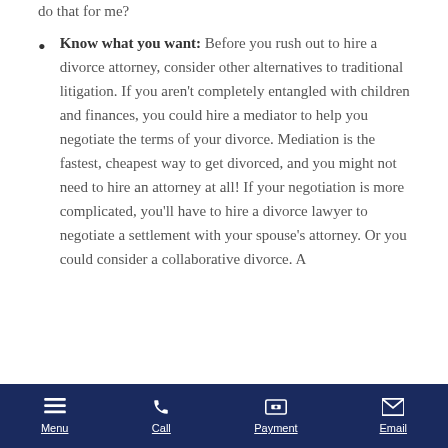do that for me?
Know what you want: Before you rush out to hire a divorce attorney, consider other alternatives to traditional litigation. If you aren't completely entangled with children and finances, you could hire a mediator to help you negotiate the terms of your divorce. Mediation is the fastest, cheapest way to get divorced, and you might not need to hire an attorney at all! If your negotiation is more complicated, you'll have to hire a divorce lawyer to negotiate a settlement with your spouse's attorney. Or you could consider a collaborative divorce. A
Menu  Call  Payment  Email